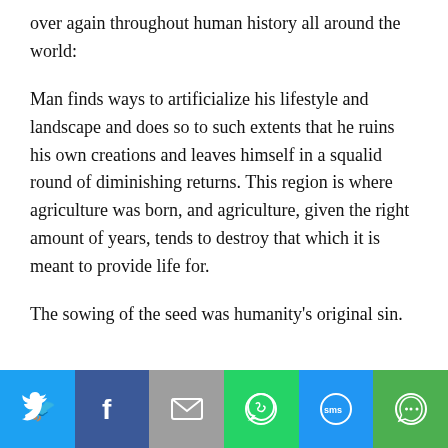over again throughout human history all around the world:
Man finds ways to artificialize his lifestyle and landscape and does so to such extents that he ruins his own creations and leaves himself in a squalid round of diminishing returns. This region is where agriculture was born, and agriculture, given the right amount of years, tends to destroy that which it is meant to provide life for.
The sowing of the seed was humanity's original sin.
[Figure (infographic): Social sharing bar with six buttons: Twitter (blue bird icon), Facebook (dark blue f icon), Email (grey envelope icon), WhatsApp (green phone icon), SMS (blue SMS icon), More (green circular arrow icon)]